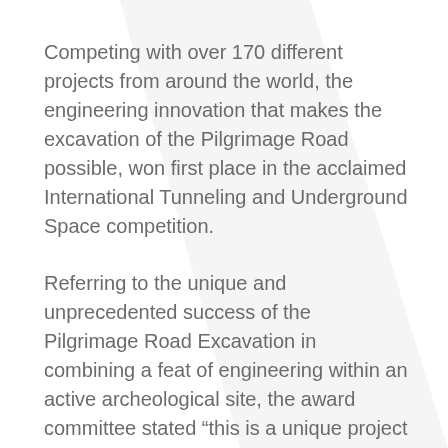Competing with over 170 different projects from around the world, the engineering innovation that makes the excavation of the Pilgrimage Road possible, won first place in the acclaimed International Tunneling and Underground Space competition.
Referring to the unique and unprecedented success of the Pilgrimage Road Excavation in combining a feat of engineering within an active archeological site, the award committee stated “this is a unique project that uses creativity and groundbreaking means in the field of engineering and archeology.”